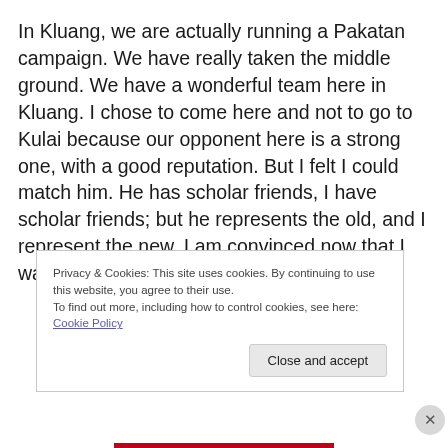In Kluang, we are actually running a Pakatan campaign. We have really taken the middle ground. We have a wonderful team here in Kluang. I chose to come here and not to go to Kulai because our opponent here is a strong one, with a good reputation. But I felt I could match him. He has scholar friends, I have scholar friends; but he represents the old, and I represent the new. I am convinced now that I was right.
Privacy & Cookies: This site uses cookies. By continuing to use this website, you agree to their use. To find out more, including how to control cookies, see here: Cookie Policy
Close and accept